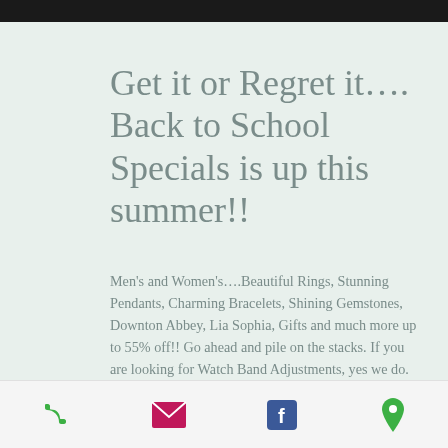Get it or Regret it…. Back to School Specials is up this summer!!
Men's and Women's….Beautiful Rings, Stunning Pendants, Charming Bracelets, Shining Gemstones, Downton Abbey, Lia Sophia, Gifts and much more up to 55% off!! Go ahead and pile on the stacks. If you are looking for Watch Band Adjustments, yes we do. We have an offer going on Buy One Get One ½ price on Watch Batteries if you want to get it installed. Don't miss it!! Call us soon
phone | email | facebook | location